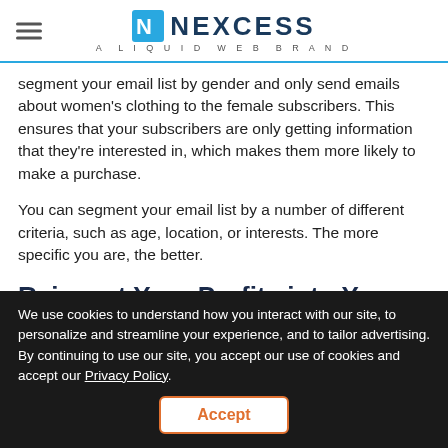NEXCESS — A LIQUID WEB BRAND
segment your email list by gender and only send emails about women's clothing to the female subscribers. This ensures that your subscribers are only getting information that they're interested in, which makes them more likely to make a purchase.
You can segment your email list by a number of different criteria, such as age, location, or interests. The more specific you are, the better.
Reinvest Your Profits into Your Ads
[Figure (other): Green chat widget with 'Chat Now' text and X close button]
We use cookies to understand how you interact with our site, to personalize and streamline your experience, and to tailor advertising. By continuing to use our site, you accept our use of cookies and accept our Privacy Policy.
Accept